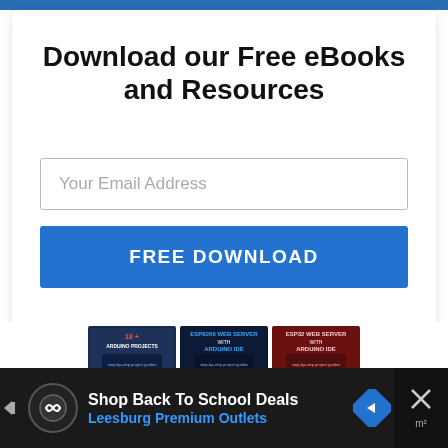Download our Free eBooks and Resources
Your Email Address
FREE DOWNLOAD
[Figure (illustration): Three eBook covers shown in a row: '18+ Arduino Projects', 'ESP8266 Web Server with Arduino IDE', 'ESP32 Web Server with Arduino IDE'. Below: 'Ultimate Guide for Arduino Sensor Modules' and 'Arduino Mini Course' books.]
Shop Back To School Deals
Leesburg Premium Outlets